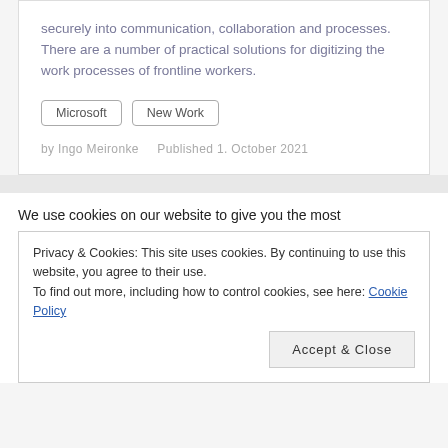securely into communication, collaboration and processes. There are a number of practical solutions for digitizing the work processes of frontline workers.
Microsoft
New Work
by Ingo Meironke   Published 1. October 2021
We use cookies on our website to give you the most
Privacy & Cookies: This site uses cookies. By continuing to use this website, you agree to their use.
To find out more, including how to control cookies, see here: Cookie Policy
Accept & Close